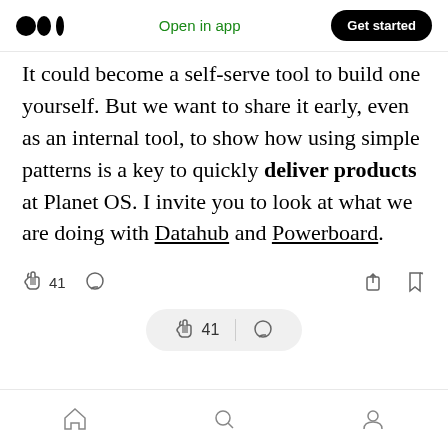Medium logo | Open in app | Get started
It could become a self-serve tool to build one yourself. But we want to share it early, even as an internal tool, to show how using simple patterns is a key to quickly deliver products at Planet OS. I invite you to look at what we are doing with Datahub and Powerboard.
[Figure (screenshot): Action bar with clap icon (41), comment icon on left; share and bookmark icons on right]
[Figure (screenshot): Floating action pill with clap icon (41), divider, and comment icon]
[Figure (screenshot): Bottom navigation bar with home, search, and profile icons]